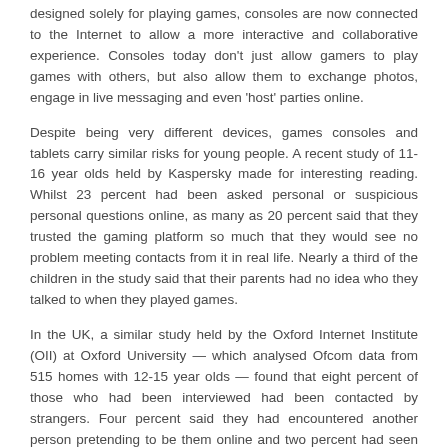designed solely for playing games, consoles are now connected to the Internet to allow a more interactive and collaborative experience. Consoles today don't just allow gamers to play games with others, but also allow them to exchange photos, engage in live messaging and even 'host' parties online.
Despite being very different devices, games consoles and tablets carry similar risks for young people. A recent study of 11-16 year olds held by Kaspersky made for interesting reading. Whilst 23 percent had been asked personal or suspicious personal questions online, as many as 20 percent said that they trusted the gaming platform so much that they would see no problem meeting contacts from it in real life. Nearly a third of the children in the study said that their parents had no idea who they talked to when they played games.
In the UK, a similar study held by the Oxford Internet Institute (OII) at Oxford University — which analysed Ofcom data from 515 homes with 12-15 year olds — found that eight percent of those who had been interviewed had been contacted by strangers. Four percent said they had encountered another person pretending to be them online and two percent had seen something of a sexual nature that had made them